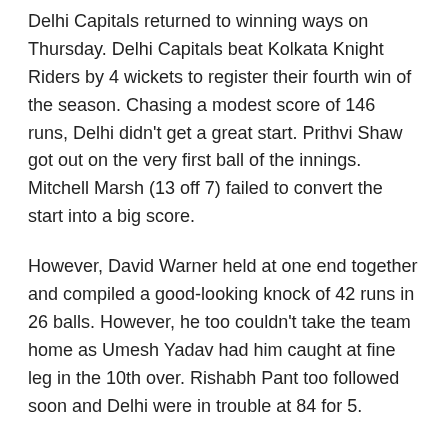Delhi Capitals returned to winning ways on Thursday. Delhi Capitals beat Kolkata Knight Riders by 4 wickets to register their fourth win of the season. Chasing a modest score of 146 runs, Delhi didn't get a great start. Prithvi Shaw got out on the very first ball of the innings. Mitchell Marsh (13 off 7) failed to convert the start into a big score.
However, David Warner held at one end together and compiled a good-looking knock of 42 runs in 26 balls. However, he too couldn't take the team home as Umesh Yadav had him caught at fine leg in the 10th over. Rishabh Pant too followed soon and Delhi were in trouble at 84 for 5.
However, notable contributions from Axar Patel (24 off 17) and Rovman Powell (33 off 16) meant Delhi chased down the score in 19 overs.